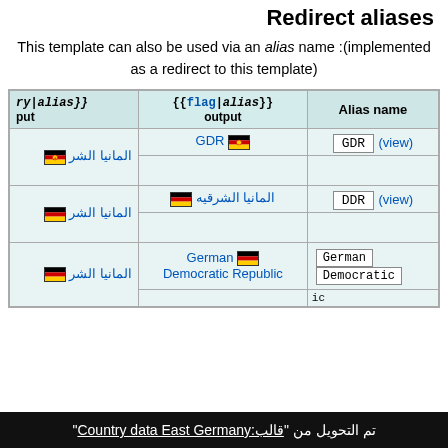Redirect aliases
This template can also be used via an alias name (implemented as a redirect to this template):
| ry|alias}} | {{flag|alias}} output | Alias name |
| --- | --- | --- |
| المانيا الشر 🏴 [flag] | GDR 🏴 | GDR (view) |
| المانيا الشر 🏴 [flag] | المانيا الشرقيه 🏴 | DDR (view) |
| المانيا الشر 🏴 [flag] | German Democratic Republic 🏴 | German Democratic Republic |
تم التحويل من "قالب:Country data East Germany"